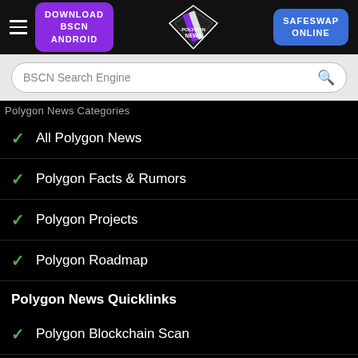DOWNLOAD BSCN ANDROID | Polygon News | SAFESWAP ONLINE
BSCN Search Engine
Polygon News Categories
All Polygon News
Polygon Facts & Rumors
Polygon Projects
Polygon Roadmap
Polygon News Quicklinks
Polygon Blockchain Scan
Polygon Blockchain CMC